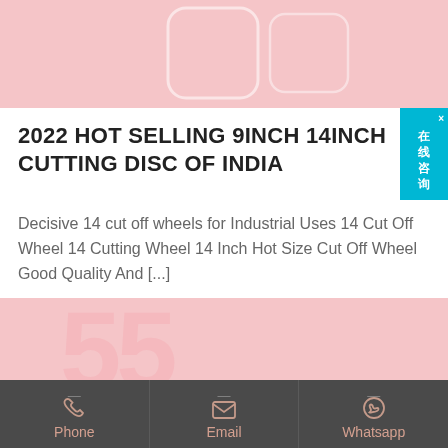[Figure (illustration): Pink banner at top with rounded square icon outline]
2022 HOT SELLING 9INCH 14INCH CUTTING DISC OF INDIA
Decisive 14 cut off wheels for Industrial Uses 14 Cut Off Wheel 14 Cutting Wheel 14 Inch Hot Size Cut Off Wheel Good Quality And [...]
[Figure (illustration): Pink banner at bottom with large number watermark]
[Figure (infographic): Dark footer bar with Phone, Email, Whatsapp contact icons and labels in three columns]